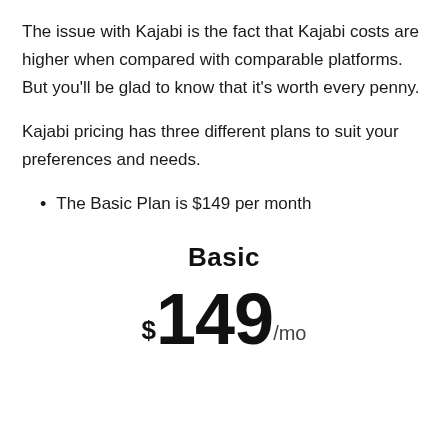The issue with Kajabi is the fact that Kajabi costs are higher when compared with comparable platforms. But you'll be glad to know that it's worth every penny.
Kajabi pricing has three different plans to suit your preferences and needs.
The Basic Plan is $149 per month
Basic
$149/mo